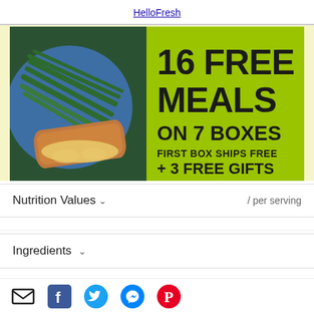HelloFresh
[Figure (photo): HelloFresh advertisement banner showing a meal on a blue plate with green beans and a protein with yellow sauce on the left, and green background on the right with text: 16 FREE MEALS ON 7 BOXES FIRST BOX SHIPS FREE + 3 FREE GIFTS]
Nutrition Values / per serving
Ingredients
Utensils
[Figure (infographic): Social sharing icons: email (envelope), Facebook, Twitter, Messenger, Pinterest]